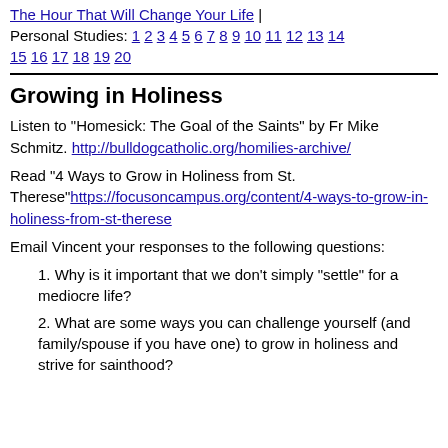The Hour That Will Change Your Life | Personal Studies: 1 2 3 4 5 6 7 8 9 10 11 12 13 14 15 16 17 18 19 20
Growing in Holiness
Listen to "Homesick: The Goal of the Saints" by Fr Mike Schmitz. http://bulldogcatholic.org/homilies-archive/
Read "4 Ways to Grow in Holiness from St. Therese" https://focusoncampus.org/content/4-ways-to-grow-in-holiness-from-st-therese
Email Vincent your responses to the following questions:
Why is it important that we don't simply "settle" for a mediocre life?
What are some ways you can challenge yourself (and family/spouse if you have one) to grow in holiness and strive for sainthood?